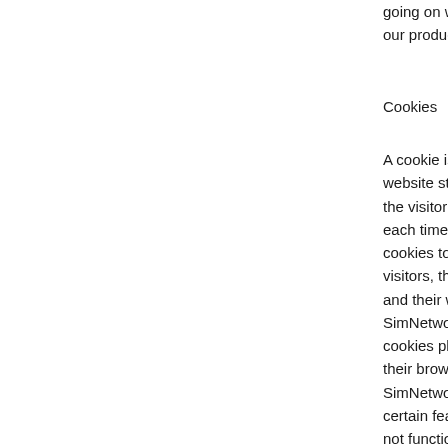going on with insofar and our products.
Cookies
A cookie is a string of information that a website stores on a visitor's computer, and that the visitor's browser provides to the website each time the visitor returns. SimNetwork uses cookies to help SimNetwork identify and track visitors, their usage of SimNetwork website, and their website access preferences. SimNetwork visitors who do not wish to have cookies placed on their computers should set their browsers to refuse cookies before using SimNetwork's websites, with the drawback that certain features of SimNetwork's websites may not function